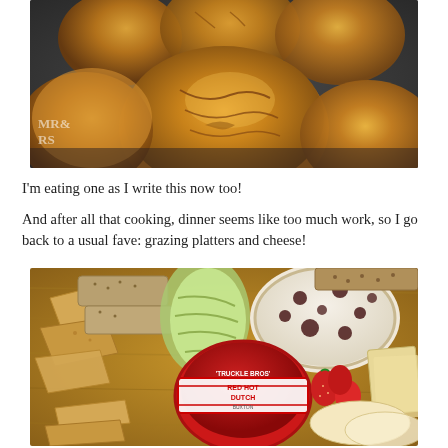[Figure (photo): Close-up photograph of golden-brown baked bread rolls on a dark surface, with a watermark reading 'MR & MRS' in the bottom-left corner]
I'm eating one as I write this now too!
And after all that cooking, dinner seems like too much work, so I go back to a usual fave: grazing platters and cheese!
[Figure (photo): Overhead photo of a grazing platter on a wooden board with crackers, sliced avocado, strawberries, sliced apple, various cheeses, and a round red wax-sealed cheese labeled 'Truckle Bros Red Hot Dutch' from Buxton]